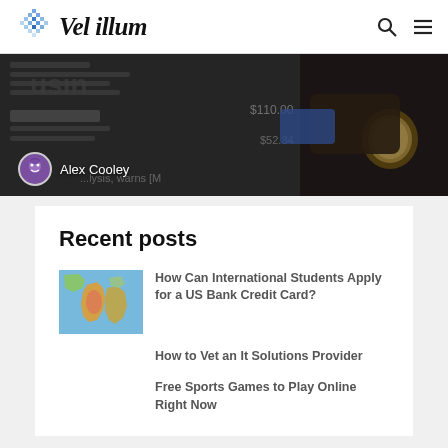Vel illum
[Figure (photo): Hero image of person reading business newspaper with hands visible, dark overlay. Author avatar and name 'Alex Cooley' overlaid at bottom left.]
Recent posts
[Figure (photo): Thumbnail image of a colorful world map]
How Can International Students Apply for a US Bank Credit Card?
How to Vet an It Solutions Provider
Free Sports Games to Play Online Right Now